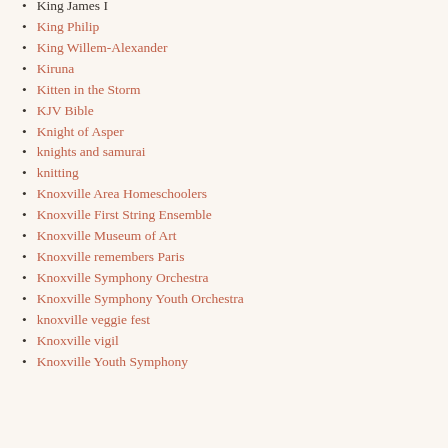King James I
King Philip
King Willem-Alexander
Kiruna
Kitten in the Storm
KJV Bible
Knight of Asper
knights and samurai
knitting
Knoxville Area Homeschoolers
Knoxville First String Ensemble
Knoxville Museum of Art
Knoxville remembers Paris
Knoxville Symphony Orchestra
Knoxville Symphony Youth Orchestra
knoxville veggie fest
Knoxville vigil
Knoxville Youth Symphony